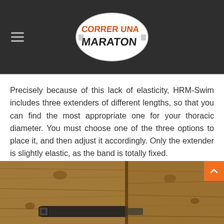Correr Una Maraton - website header with logo
Precisely because of this lack of elasticity, HRM-Swim includes three extenders of different lengths, so that you can find the most appropriate one for your thoracic diameter. You must choose one of the three options to place it, and then adjust it accordingly. Only the extender is slightly elastic, as the band is totally fixed.
[Figure (photo): Photo of a black strap/band accessory laid on a wooden table surface, split into two panels]